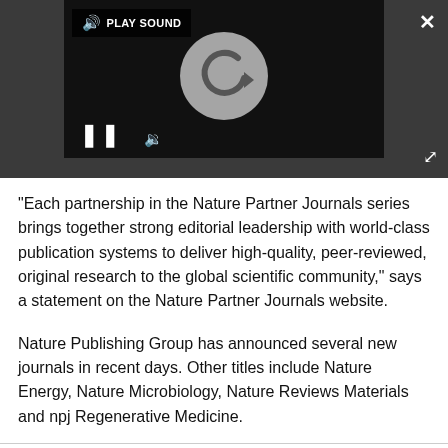[Figure (screenshot): A video player with dark background showing a loading/replay circle icon in the center, a PLAY SOUND button in the top-left, a pause button (||) on the lower left, an X close button in the top right of the outer container, and an expand/fullscreen icon in the bottom right of the outer container.]
"Each partnership in the Nature Partner Journals series brings together strong editorial leadership with world-class publication systems to deliver high-quality, peer-reviewed, original research to the global scientific community," says a statement on the Nature Partner Journals website.
Nature Publishing Group has announced several new journals in recent days. Other titles include Nature Energy, Nature Microbiology, Nature Reviews Materials and npj Regenerative Medicine.